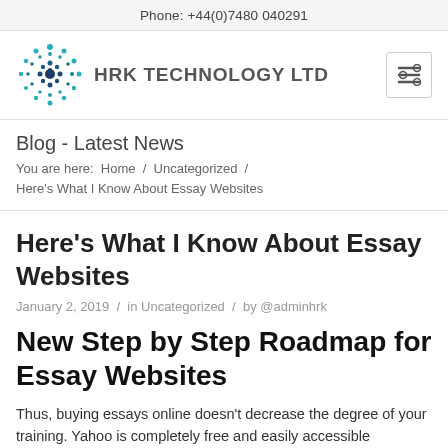Phone: +44(0)7480 040291
[Figure (logo): HRK Technology Ltd logo — circular dot pattern in teal and dark blue, with company name 'HRK TECHNOLOGY LTD' in bold grey text]
Blog - Latest News
You are here:  Home  /  Uncategorized  /
Here's What I Know About Essay Websites
Here's What I Know About Essay Websites
January 2, 2019  /  in Uncategorized  /  by @adminhrk
New Step by Step Roadmap for Essay Websites
Thus, buying essays online doesn't decrease the degree of your training. Yahoo is completely free and easily accessible